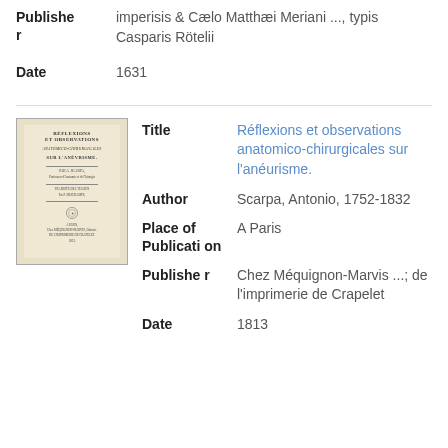| Field | Value |
| --- | --- |
| Publisher | imperisis & Cælo Matthæi Meriani ..., typis Casparis Rötelii |
| Date | 1631 |
[Figure (photo): Cover page of an old book titled 'Réflexions et observations anatomico-chirurgicales sur l'anéurisme' showing aged yellowed pages with ornamental emblem]
| Field | Value |
| --- | --- |
| Title | Réflexions et observations anatomico-chirurgicales sur l'anéurisme. |
| Author | Scarpa, Antonio, 1752-1832 |
| Place of Publication | A Paris |
| Publisher | Chez Méquignon-Marvis ...; de l'imprimerie de Crapelet |
| Date | 1813 |